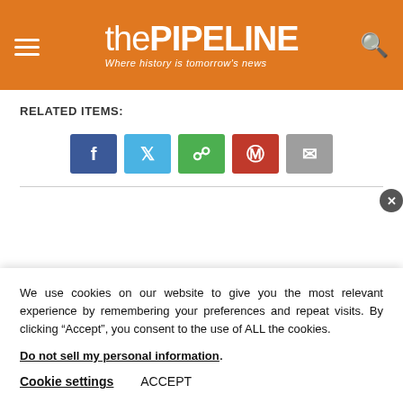thePIPELINE — Where history is tomorrow's news
RELATED ITEMS:
[Figure (infographic): Row of social share buttons: Facebook (blue), Twitter (light blue), WhatsApp (green), Pinterest (red), Email (grey)]
We use cookies on our website to give you the most relevant experience by remembering your preferences and repeat visits. By clicking “Accept”, you consent to the use of ALL the cookies.
Do not sell my personal information.
Cookie settings   ACCEPT